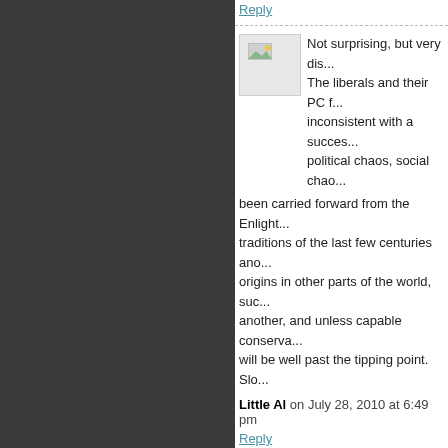Reply
[Figure (photo): Avatar image placeholder with broken image icon]
Not surprising, but very dis... The liberals and their PC f... inconsistent with a succes... political chaos, social chao... been carried forward from the Enlight... traditions of the last few centuries and... origins in other parts of the world, suc... another, and unless capable conserva... will be well past the tipping point. Slo...
Little Al on July 28, 2010 at 6:49 pm
Reply
[Figure (photo): Avatar image placeholder with broken image icon]
I think Rhode Island has th...
Then, what?
As goes Israel - So goes the World on
Reply